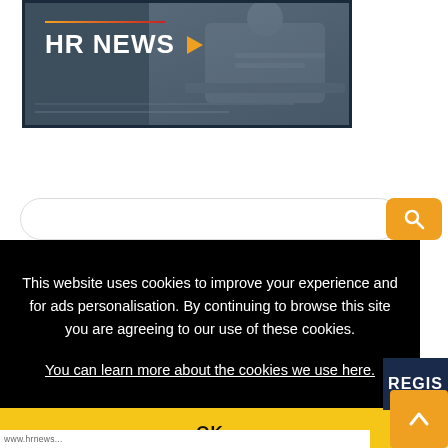[Figure (screenshot): HR News website screenshot showing a dark hero banner with 'HR NEWS' title and orange play triangle icon, over a blurred background of a person at a computer.]
[Figure (screenshot): Search bar with rounded input field and orange search button with magnifying glass icon.]
This website uses cookies to improve your experience and for ads personalisation. By continuing to browse this site you are agreeing to our use of these cookies.
You can learn more about the cookies we use here.
OK
REGIS
[Figure (screenshot): Orange scroll-to-top button with upward arrow chevron in bottom right corner.]